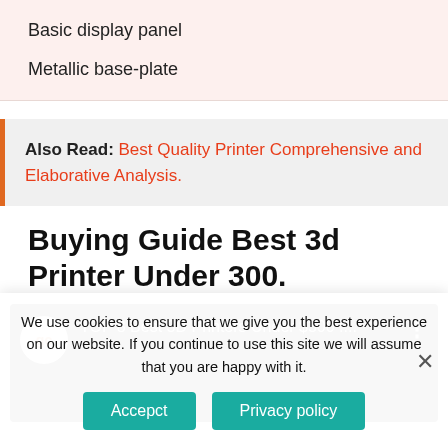Basic display panel
Metallic base-plate
Also Read: Best Quality Printer Comprehensive and Elaborative Analysis.
Buying Guide Best 3d Printer Under 300.
[Figure (screenshot): YouTube video thumbnail showing 'TOP 8 Best 3D Printers Under $300 :...' with a channel icon on the left and three-dot menu on the right, dark background]
We use cookies to ensure that we give you the best experience on our website. If you continue to use this site we will assume that you are happy with it.
Accepct   Privacy policy